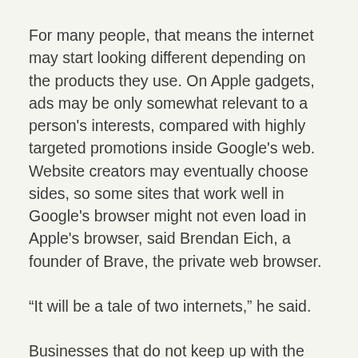For many people, that means the internet may start looking different depending on the products they use. On Apple gadgets, ads may be only somewhat relevant to a person's interests, compared with highly targeted promotions inside Google's web. Website creators may eventually choose sides, so some sites that work well in Google's browser might not even load in Apple's browser, said Brendan Eich, a founder of Brave, the private web browser.
“It will be a tale of two internets,” he said.
Businesses that do not keep up with the changes risk getting run over. Increasingly, media publishers and even apps that show the weather are charging subscription fees, in the same way that Netflix levies a monthly fee for video streaming. Some e-